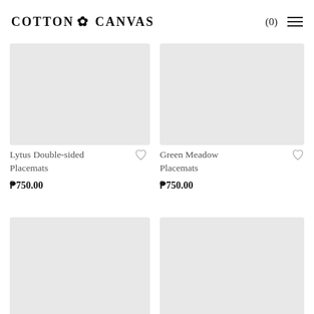Cotton Canvas — (0)
[Figure (photo): Lytus Double-sided Placemats product image placeholder (gray rectangle)]
[Figure (photo): Green Meadow Placemats product image placeholder (gray rectangle)]
Lytus Double-sided Placemats
₱750.00
Green Meadow Placemats
₱750.00
[Figure (photo): Third product image placeholder (gray rectangle, partially visible)]
[Figure (photo): Fourth product image placeholder (gray rectangle, partially visible)]